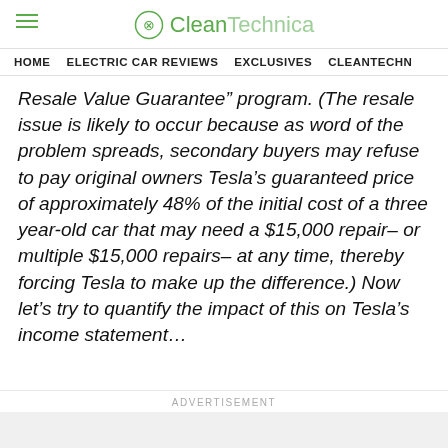CleanTechnica
HOME   ELECTRIC CAR REVIEWS   EXCLUSIVES   CLEANTECHN
Resale Value Guarantee” program. (The resale issue is likely to occur because as word of the problem spreads, secondary buyers may refuse to pay original owners Tesla’s guaranteed price of approximately 48% of the initial cost of a three year-old car that may need a $15,000 repair– or multiple $15,000 repairs– at any time, thereby forcing Tesla to make up the difference.) Now let’s try to quantify the impact of this on Tesla’s income statement...
ADVERTISEMENT